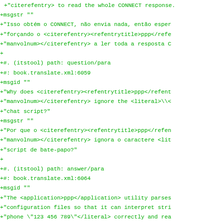+"citerefentry> to read the whole CONNECT response.
+msgstr ""
+"Isso obtém o CONNECT, não envia nada, então esper
+"forçando o <citerefentry><refentrytitle>ppp</refe
+"manvolnum></citerefentry> a ler toda a resposta C
+
+#. (itstool) path: question/para
+#: book.translate.xml:6059
+msgid ""
+"Why does <citerefentry><refentrytitle>ppp</refent
+"manvolnum></citerefentry> ignore the <literal>\\<
+"chat script?"
+msgstr ""
+"Por que o <citerefentry><refentrytitle>ppp</refen
+"manvolnum></citerefentry> ignora o caractere <lit
+"script de bate-papo?"
+
+#. (itstool) path: answer/para
+#: book.translate.xml:6064
+msgid ""
+"The <application>ppp</application> utility parses
+"configuration files so that it can interpret stri
+"phone \"123 456 789\"</literal> correctly and rea
+"actually only one argument. To specify a <literal
+"escape it using a backslash (<literal>\\</literal
+msgstr ""
+"O utilitário <application>ppp</application> anali
+"arquivos de configuração para que ela possa inter
+"seqüências de caracteres como <literal>set phone
+"perceber que o número é realmente apenas um argum